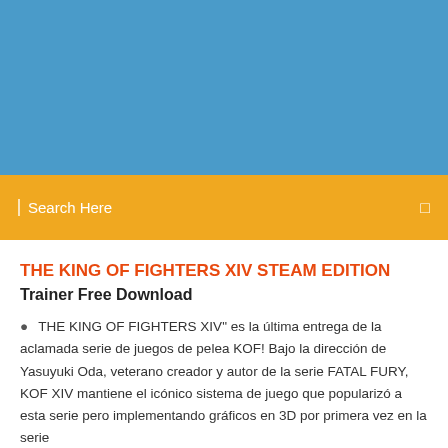[Figure (other): Blue header banner background area]
Search Here
THE KING OF FIGHTERS XIV STEAM EDITION
Trainer Free Download
THE KING OF FIGHTERS XIV" es la última entrega de la aclamada serie de juegos de pelea KOF! Bajo la dirección de Yasuyuki Oda, veterano creador y autor de la serie FATAL FURY, KOF XIV mantiene el icónico sistema de juego que popularizó a esta serie pero implementando gráficos en 3D por primera vez en la serie